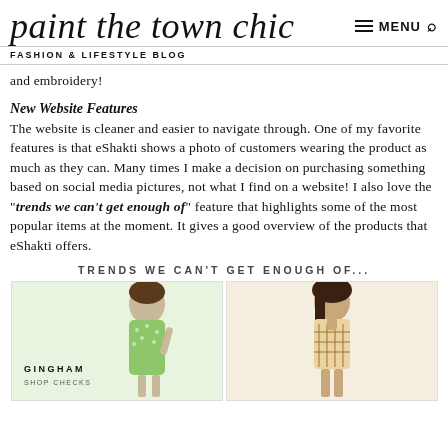paint the town chic
FASHION & LIFESTYLE BLOG
and embroidery!
New Website Features
The website is cleaner and easier to navigate through. One of my favorite features is that eShakti shows a photo of customers wearing the product as much as they can. Many times I make a decision on purchasing something based on social media pictures, not what I find on a website! I also love the "trends we can't get enough of" feature that highlights some of the most popular items at the moment. It gives a good overview of the products that eShakti offers.
TRENDS WE CAN'T GET ENOUGH OF...
[Figure (photo): Two fashion photos side by side under 'Trends we can't get enough of' banner. Left: woman in green gingham dress with label 'GINGHAM / SHOP CHECKS'. Right: woman in patterned bohemian top.]